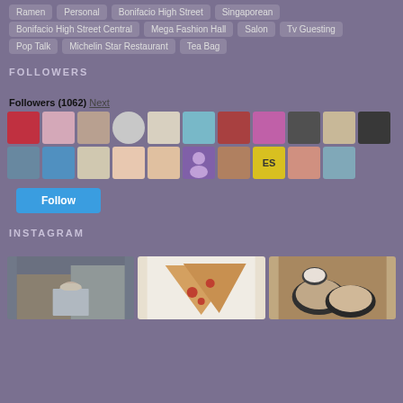Ramen
Personal
Bonifacio High Street
Singaporean
Bonifacio High Street Central
Mega Fashion Hall
Salon
Tv Guesting
Pop Talk
Michelin Star Restaurant
Tea Bag
FOLLOWERS
Followers (1062) Next
[Figure (photo): Grid of follower avatar profile pictures, two rows of approximately 10-11 avatars each, showing various profile photos]
Follow
INSTAGRAM
[Figure (photo): Three Instagram photos side by side: a woman in a baseball cap on a city street, pizza slices on a white surface, and ramen/food bowls on a wooden table]